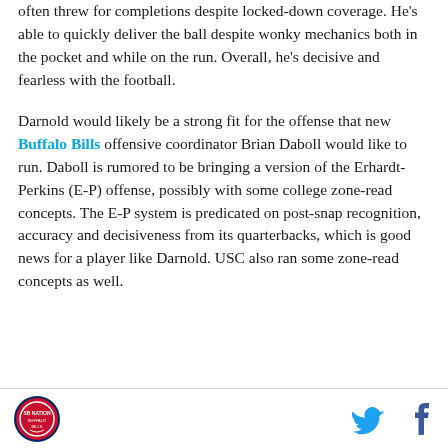often threw for completions despite locked-down coverage. He's able to quickly deliver the ball despite wonky mechanics both in the pocket and while on the run. Overall, he's decisive and fearless with the football.
Darnold would likely be a strong fit for the offense that new Buffalo Bills offensive coordinator Brian Daboll would like to run. Daboll is rumored to be bringing a version of the Erhardt-Perkins (E-P) offense, possibly with some college zone-read concepts. The E-P system is predicated on post-snap recognition, accuracy and decisiveness from its quarterbacks, which is good news for a player like Darnold. USC also ran some zone-read concepts as well.
Logo | Twitter | Facebook